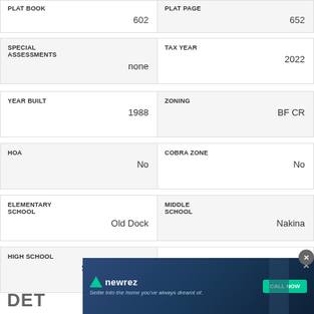| PLAT BOOK | PLAT PAGE |
| --- | --- |
| 602 | 652 |
| SPECIAL ASSESSMENTS | TAX YEAR |
| --- | --- |
| none | 2022 |
| YEAR BUILT | ZONING |
| --- | --- |
| 1988 | BF CR |
| HOA | COBRA ZONE |
| --- | --- |
| No | No |
| ELEMENTARY SCHOOL | MIDDLE SCHOOL |
| --- | --- |
| Old Dock | Nakina |
| HIGH SCHOOL |  |
| --- | --- |
| South Columbus |  |
DET
[Figure (advertisement): Newrez mortgage advertisement with tagline 'Settle into the home you've always dreamt of.' and CALL NOW button]